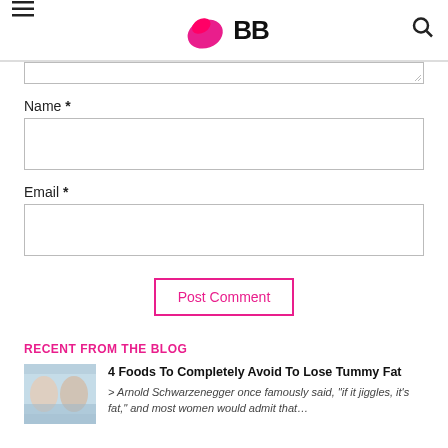IMBB logo, hamburger menu, search icon
Name *
Email *
Post Comment
RECENT FROM THE BLOG
4 Foods To Completely Avoid To Lose Tummy Fat
> Arnold Schwarzenegger once famously said, "if it jiggles, it's fat," and most women would admit that…